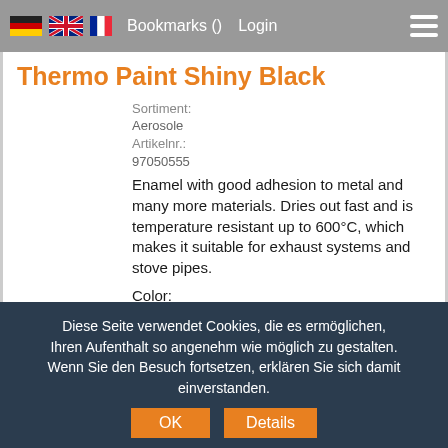Bookmarks ()  Login
Thermo Paint Shiny Black
Sortiment:
Aerosole
Artikelnr.:
97050555
Enamel with good adhesion to metal and many more materials. Dries out fast and is temperature resistant up to 600°C, which makes it suitable for exhaust systems and stove pipes.
Color:
Black glossy
Packaging Unit:
12 cans/box
Vol.:
400 ml
Diese Seite verwendet Cookies, die es ermöglichen, Ihren Aufenthalt so angenehm wie möglich zu gestalten. Wenn Sie den Besuch fortsetzen, erklären Sie sich damit einverstanden.